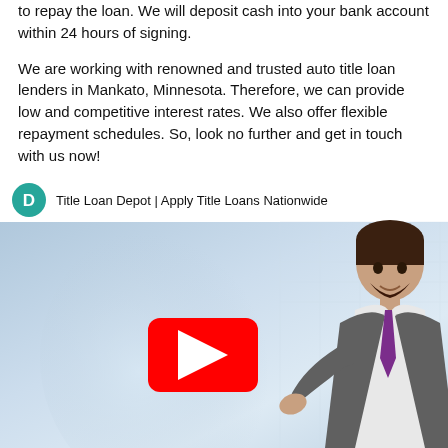to repay the loan. We will deposit cash into your bank account within 24 hours of signing.
We are working with renowned and trusted auto title loan lenders in Mankato, Minnesota. Therefore, we can provide low and competitive interest rates. We also offer flexible repayment schedules. So, look no further and get in touch with us now!
[Figure (screenshot): Embedded YouTube video thumbnail for 'Title Loan Depot | Apply Title Loans Nationwide' showing a 3D animated man in a suit with a purple tie gesturing, on a light blue background. A YouTube play button is centered on the video.]